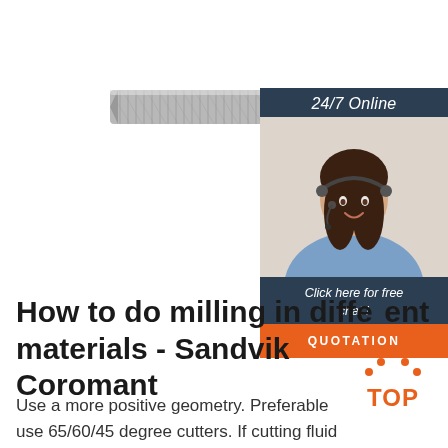[Figure (photo): A cylindrical carbide end mill / burr tool, metallic silver, shown horizontally with a textured cutting head on the left and a smooth shank on the right.]
[Figure (infographic): A customer service chat widget with a dark navy header reading '24/7 Online', a photo of a smiling woman with a headset, a navy bar with italic text 'Click here for free chat !', and an orange button labeled 'QUOTATION'.]
How to do milling in different materials - Sandvik Coromant
Use a more positive geometry. Preferable use 65/60/45 degree cutters. If cutting fluid must be used to avoid dust, etc. choose the wet milling grades. Coated carbide is
[Figure (logo): Orange 'TOP' badge with dot-triangle above the text, used as a scroll-to-top button.]